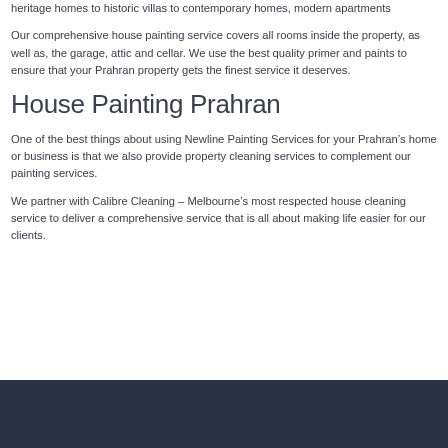heritage homes to historic villas to contemporary homes, modern apartments
Our comprehensive house painting service covers all rooms inside the property, as well as, the garage, attic and cellar. We use the best quality primer and paints to ensure that your Prahran property gets the finest service it deserves.
House Painting Prahran
One of the best things about using Newline Painting Services for your Prahran’s home or business is that we also provide property cleaning services to complement our painting services.
We partner with Calibre Cleaning – Melbourne’s most respected house cleaning service to deliver a comprehensive service that is all about making life easier for our clients.